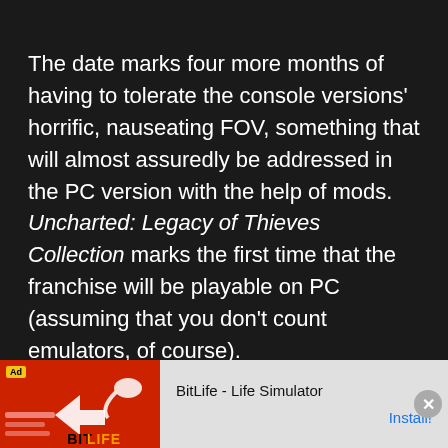The date marks four more months of having to tolerate the console versions' horrific, nauseating FOV, something that will almost assuredly be addressed in the PC version with the help of mods. Uncharted: Legacy of Thieves Collection marks the first time that the franchise will be playable on PC (assuming that you don't count emulators, of course).
[Figure (other): Advertisement banner for BitLife - Life Simulator app with red background and BitLife logo, showing 'Ad' badge, close button (X), and Install button]